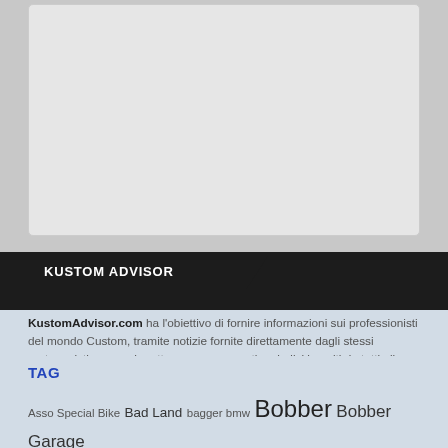[Figure (other): Gray advertisement placeholder box with rounded corners and light border]
KUSTOM ADVISOR
KustomAdvisor.com ha l'obiettivo di fornire informazioni sui professionisti del mondo Custom, tramite notizie fornite direttamente dagli stessi protagonisti, ma anche attraverso commenti e giudizi inseriti da tutti gli appassionati di moto e visitatori del sito. Informazioni e tante foto di Harley Davidson, Triumph, moto custom, bobber, chopper, pinup, hot rod, tattoo e tutto ciò che gira attorno al mondo delle moto, del Kustom e della Kustom Kulture...
TAG
Asso Special Bike Bad Land bagger bmw Bobber Bobber Garage cafè racer chopper cross bones custom dragster fat boy Flathead forty eight Harley-